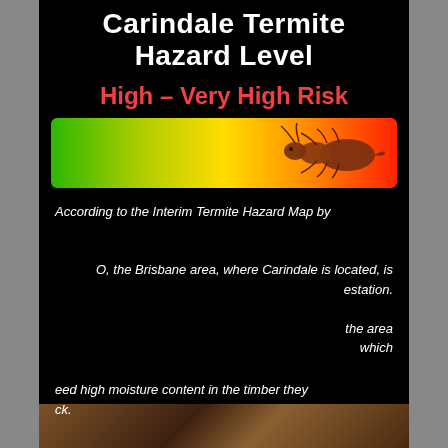Carindale Termite Hazard Level
High – Very High Risk
[Figure (infographic): Horizontal gradient bar from green (left, low risk) to red (right, high/very high risk), with a termite illustration on the right side indicating high-very high risk level for Carindale area.]
According to the Interim Termite Hazard Map by O, the Brisbane area, where Carindale is located, is estation. the area which eed high moisture content in the timber they ck.
[Figure (screenshot): Chat widget overlay showing a 'close' button, a chat popup with a female avatar and text 'Hi there, have a question? Text us here.', and a red chat bubble button at the bottom left.]
[Figure (photo): Partial photo at the bottom showing termites or wood damage, brown tones.]